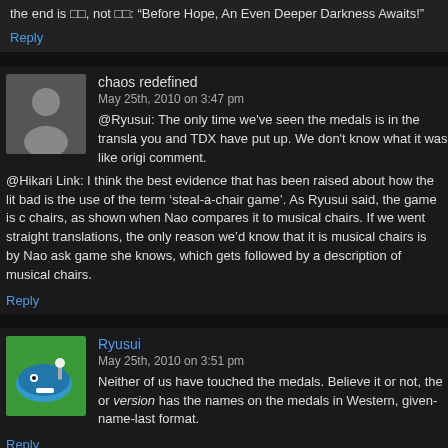the end is □□, not □□: "Before Hope, An Even Deeper Darkness Awaits!"
Reply
chaos redefined
May 25th, 2010 on 3:47 pm
@Ryusui: The only time we've seen the medals is in the transla you and TDX have put up. We don't know what it was like origi comment.
@Hikari Link: I think the best evidence that has been raised about how the lit bad is the use of the term 'steal-a-chair game'. As Ryusui said, the game is c chairs, as shown when Nao compares it to musical chairs. If we went straight translations, the only reason we'd know that it is musical chairs is by Nao ask game she knows, which gets followed by a description of musical chairs.
Reply
Ryusui
May 25th, 2010 on 3:51 pm
Neither of us have touched the medals. Believe it or not, the or version has the names on the medals in Western, given-name-last format.
Reply
Oh Please